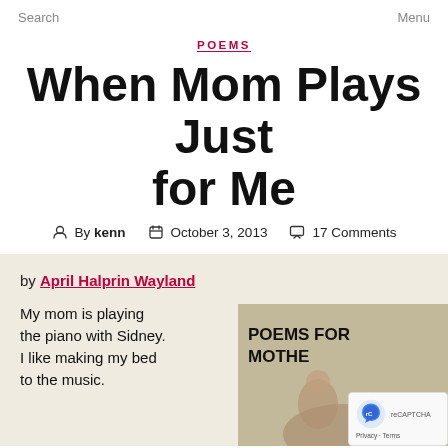Search   Menu
POEMS
When Mom Plays Just for Me
By kenn   October 3, 2013   17 Comments
by April Halprin Wayland
My mom is playing the piano with Sidney. I like making my bed to the music.
[Figure (photo): Book cover showing 'POEMS FOR MOTHERS' text with an illustration]